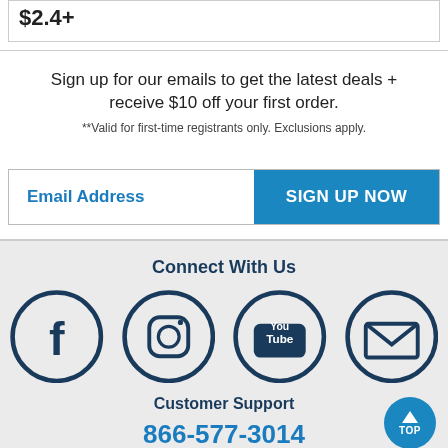$2.4+
Sign up for our emails to get the latest deals + receive $10 off your first order.
**Valid for first-time registrants only. Exclusions apply.
Email Address
SIGN UP NOW
Connect With Us
[Figure (infographic): Social media icons: Facebook, Instagram, YouTube, Email/envelope in dark navy circles]
Customer Support
866-577-3014
Mon-Fri, 9am-7pm ET